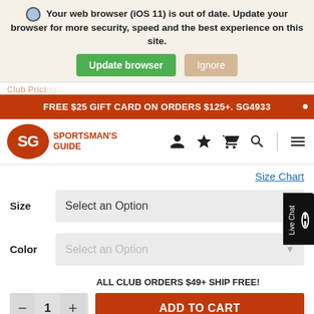🌐 Your web browser (iOS 11) is out of date. Update your browser for more security, speed and the best experience on this site.
Update browser | Ignore
Club Pricing...
FREE $25 GIFT CARD ON ORDERS $125+. SG4933
[Figure (logo): Sportsman's Guide logo with SG initials in orange circle and brand name text]
Size Chart
Size  Select an Option
Color  Select an Option
ALL CLUB ORDERS $49+ SHIP FREE!
— 1 +  ADD TO CART